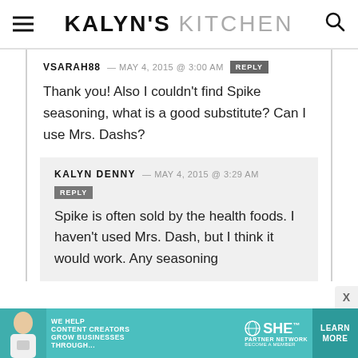KALYN'S KITCHEN
VSARAH88 — MAY 4, 2015 @ 3:00 AM REPLY
Thank you! Also I couldn't find Spike seasoning, what is a good substitute? Can I use Mrs. Dashs?
KALYN DENNY — MAY 4, 2015 @ 3:29 AM REPLY
Spike is often sold by the health foods. I haven't used Mrs. Dash, but I think it would work. Any seasoning
[Figure (infographic): Ad banner: SHE Media Partner Network — We help content creators grow businesses through... Learn More button with teal background]